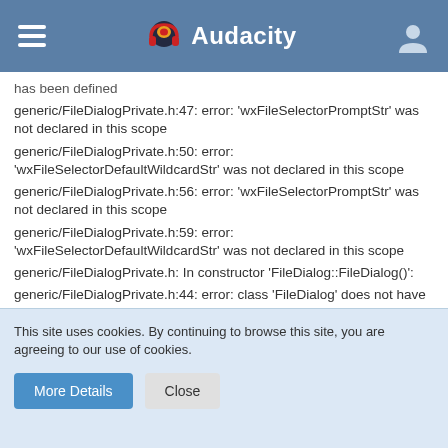Audacity
generic/FileDialogPrivate.h:47: error: 'wxFileSelectorPromptStr' was not declared in this scope
generic/FileDialogPrivate.h:50: error: 'wxFileSelectorDefaultWildcardStr' was not declared in this scope
generic/FileDialogPrivate.h:56: error: 'wxFileSelectorPromptStr' was not declared in this scope
generic/FileDialogPrivate.h:59: error: 'wxFileSelectorDefaultWildcardStr' was not declared in this scope
generic/FileDialogPrivate.h: In constructor 'FileDialog::FileDialog()':
generic/FileDialogPrivate.h:44: error: class 'FileDialog' does not have any field named 'wxFileDialogBase'
generic/FileDialogPrivate.h: In member function 'virtual void
This site uses cookies. By continuing to browse this site, you are agreeing to our use of cookies.